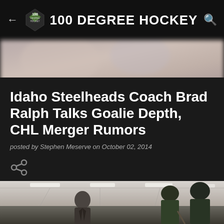100 DEGREE HOCKEY
[Figure (photo): Blurred background photo behind article header]
Idaho Steelheads Coach Brad Ralph Talks Goalie Depth, CHL Merger Rumors
posted by Stephen Meserve on October 02, 2014
[Figure (photo): Photo of coach (Brad Ralph) in suit standing at rink boards with hockey players in green jerseys and helmets during practice or game]